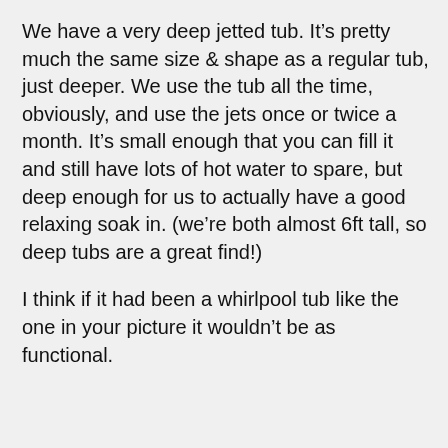We have a very deep jetted tub. It’s pretty much the same size & shape as a regular tub, just deeper. We use the tub all the time, obviously, and use the jets once or twice a month. It’s small enough that you can fill it and still have lots of hot water to spare, but deep enough for us to actually have a good relaxing soak in. (we’re both almost 6ft tall, so deep tubs are a great find!)
I think if it had been a whirlpool tub like the one in your picture it wouldn’t be as functional.
[Figure (screenshot): Partial dark navy blue advertisement banner with a green rectangle, text reading 'Lon Penzo says', and a green button on the right]
1.  2 PERSON HOT TUBS
2.  DEEP SOAKING TUBS
Ad | Business Focus